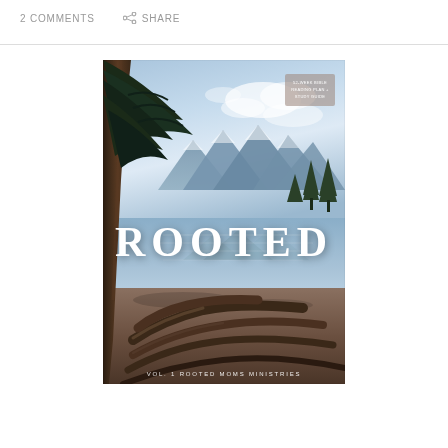2 COMMENTS   SHARE
[Figure (photo): Book cover of 'ROOTED Vol. 1 Rooted Moms Ministries' — a 52-week Bible reading plan and study guide. The cover features a nature photograph of a large tree with exposed roots in the foreground, a mountain lake with reflections in the middle, pine trees and mountains in the background, and a blue sky with clouds. The title 'ROOTED' appears in large white serif letters across the center.]